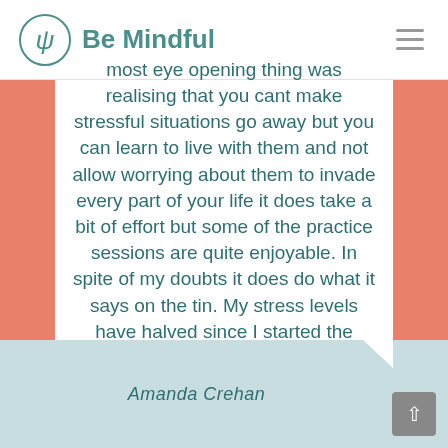Be Mindful
most eye opening thing was realising that you cant make stressful situations go away but you can learn to live with them and not allow worrying about them to invade every part of your life it does take a bit of effort but some of the practice sessions are quite enjoyable. In spite of my doubts it does do what it says on the tin. My stress levels have halved since I started the course.
Amanda Crehan